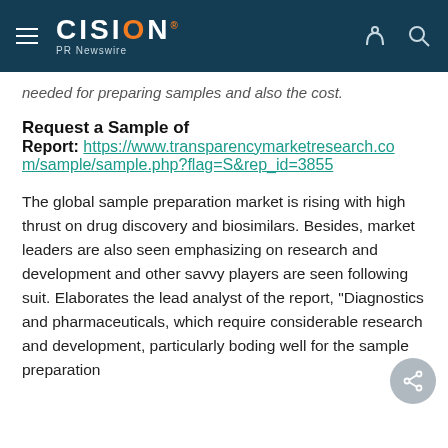CISION PR Newswire
needed for preparing samples and also the cost.
Request a Sample of
Report: https://www.transparencymarketresearch.com/sample/sample.php?flag=S&rep_id=3855
The global sample preparation market is rising with high thrust on drug discovery and biosimilars. Besides, market leaders are also seen emphasizing on research and development and other savvy players are seen following suit. Elaborates the lead analyst of the report, "Diagnostics and pharmaceuticals, which require considerable research and development, particularly boding well for the sample preparation